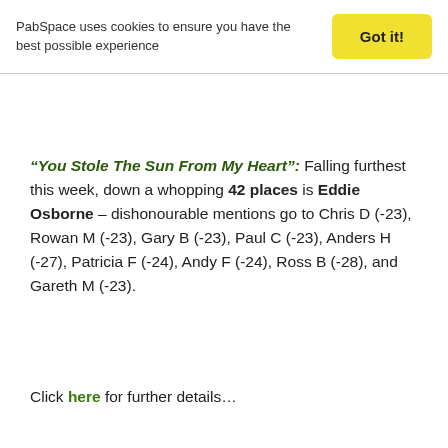PabSpace uses cookies to ensure you have the best possible experience  Got it!
“You Stole The Sun From My Heart”: Falling furthest this week, down a whopping 42 places is Eddie Osborne – dishonourable mentions go to Chris D (-23), Rowan M (-23), Gary B (-23), Paul C (-23), Anders H (-27), Patricia F (-24), Andy F (-24), Ross B (-28), and Gareth M (-23).
Click here for further details…